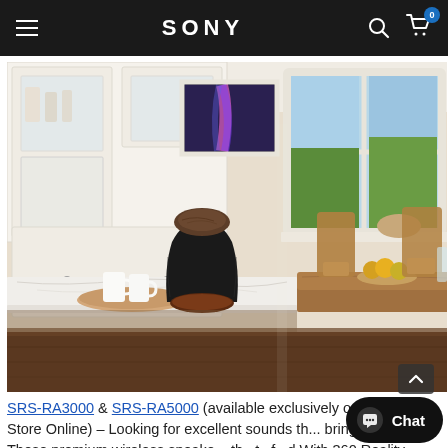SONY
[Figure (photo): Sony wireless speaker (SRS-RA3000 or SRS-RA5000) sitting on a marble kitchen countertop in a bright, modern kitchen/dining room setting with white cabinets, a framed art print on the wall, large windows, and a wooden dining table with chairs.]
SRS-RA3000 & SRS-RA5000 (available exclusively on Sony Store Online) – Looking for excellent sounds th... bring around? These premium wireless speake... th...t...f...d With 360 Reality Audio Inspired...